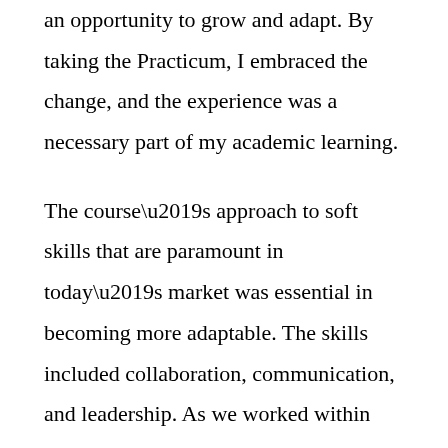an opportunity to grow and adapt. By taking the Practicum, I embraced the change, and the experience was a necessary part of my academic learning.
The course’s approach to soft skills that are paramount in today’s market was essential in becoming more adaptable. The skills included collaboration, communication, and leadership. As we worked within our consulting group, we received ample time to engage with them. During the virtual